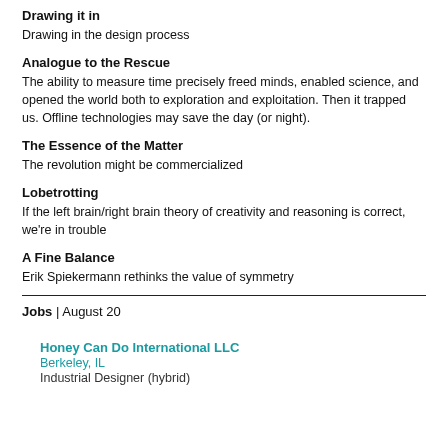Drawing it in
Drawing in the design process
Analogue to the Rescue
The ability to measure time precisely freed minds, enabled science, and opened the world both to exploration and exploitation. Then it trapped us. Offline technologies may save the day (or night).
The Essence of the Matter
The revolution might be commercialized
Lobetrotting
If the left brain/right brain theory of creativity and reasoning is correct, we're in trouble
A Fine Balance
Erik Spiekermann rethinks the value of symmetry
Jobs | August 20
Honey Can Do International LLC
Berkeley, IL
Industrial Designer (hybrid)